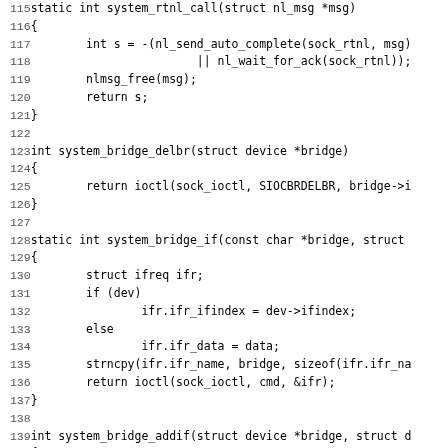[Figure (screenshot): Source code listing in C showing functions: system_rtnl_call, system_bridge_delbr, system_bridge_if, system_bridge_addif, system_bridge_delif. Line numbers 115-146 visible. Monospace font on white background.]